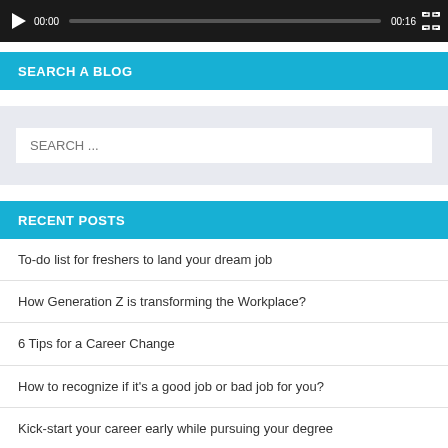[Figure (screenshot): Video player control bar showing play button, timestamp 00:00, progress bar, duration 00:16, and fullscreen button on dark background]
SEARCH A BLOG
[Figure (screenshot): Search input box with placeholder text 'SEARCH ...' on a light grey background]
RECENT POSTS
To-do list for freshers to land your dream job
How Generation Z is transforming the Workplace?
6 Tips for a Career Change
How to recognize if it's a good job or bad job for you?
Kick-start your career early while pursuing your degree